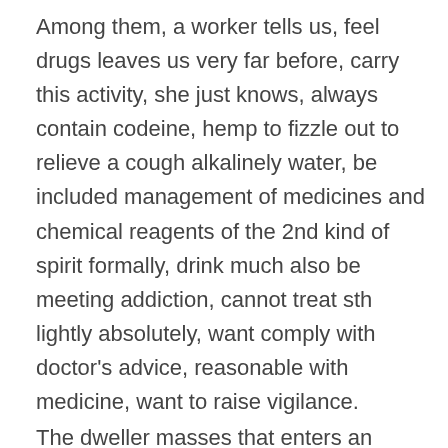Among them, a worker tells us, feel drugs leaves us very far before, carry this activity, she just knows, always contain codeine, hemp to fizzle out to relieve a cough alkalinely water, be included management of medicines and chemical reagents of the 2nd kind of spirit formally, drink much also be meeting addiction, cannot treat sth lightly absolutely, want comply with doctor's advice, reasonable with medicine, want to raise vigilance.
The dweller masses that enters an activity expresses to benefit a lot in succession, go back to publicize the knowledge that prohibit toxin to family, friend even, advocate everybody to establish be far from drugs, reject drugs to share the sense that prohibits toxin, want to be in